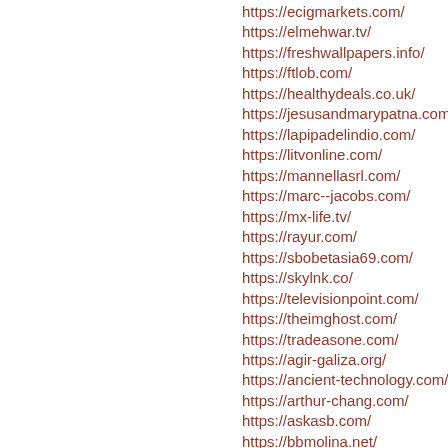https://ecigmarkets.com/
https://elmehwar.tv/
https://freshwallpapers.info/
https://ftlob.com/
https://healthydeals.co.uk/
https://jesusandmarypatna.com/
https://lapipadelindio.com/
https://litvonline.com/
https://mannellasrl.com/
https://marc--jacobs.com/
https://mx-life.tv/
https://rayur.com/
https://sbobetasia69.com/
https://skylnk.co/
https://televisionpoint.com/
https://theimghost.com/
https://tradeasone.com/
https://agir-galiza.org/
https://ancient-technology.com/
https://arthur-chang.com/
https://askasb.com/
https://bbmolina.net/
https://couleursetmixedmedia.com/
https://g-s.us/
https://germany-direct.com/
https://hiironokakera.tv/
https://masirvan.com/